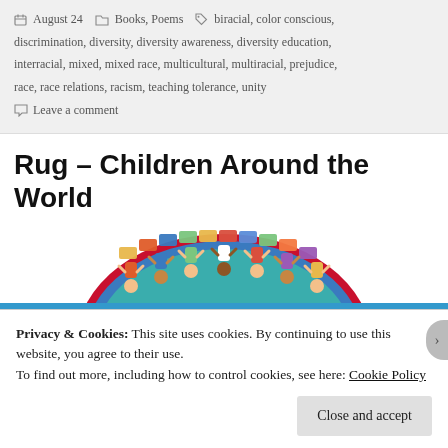August 24  Books, Poems  biracial, color conscious, discrimination, diversity, diversity awareness, diversity education, interracial, mixed, mixed race, multicultural, multiracial, prejudice, race, race relations, racism, teaching tolerance, unity  Leave a comment
Rug – Children Around the World
[Figure (photo): Circular rug featuring illustrated children from around the world in traditional dress, arranged around the border of a teal/blue rug with colorful rectangular border blocks]
Privacy & Cookies: This site uses cookies. By continuing to use this website, you agree to their use.
To find out more, including how to control cookies, see here: Cookie Policy
Close and accept